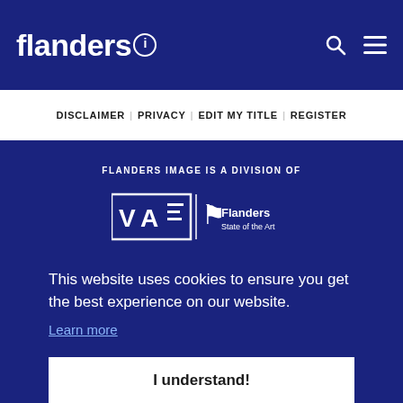flanders i
DISCLAIMER | PRIVACY | EDIT MY TITLE | REGISTER
FLANDERS IMAGE IS A DIVISION OF
[Figure (logo): VAF | Flanders State of the Art logo in white on dark blue background]
This website uses cookies to ensure you get the best experience on our website.
Learn more
I understand!